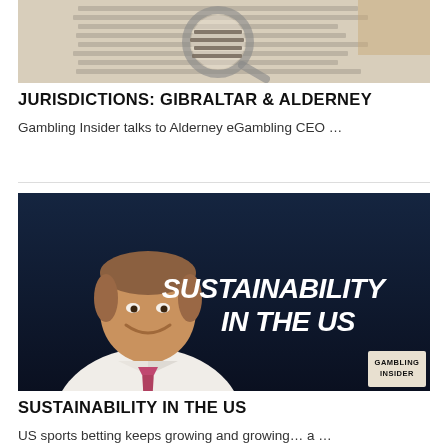[Figure (photo): Close-up photo of a magnifying glass over printed text, suggesting legal/regulatory content]
JURISDICTIONS: GIBRALTAR & ALDERNEY
Gambling Insider talks to Alderney eGambling CEO …
[Figure (photo): Dark navy background image showing a man in a white shirt and pink tie smiling, with bold white text reading 'SUSTAINABILITY IN THE US' and a Gambling Insider logo badge in the bottom right corner]
SUSTAINABILITY IN THE US
US sports betting keeps growing and growing… a …